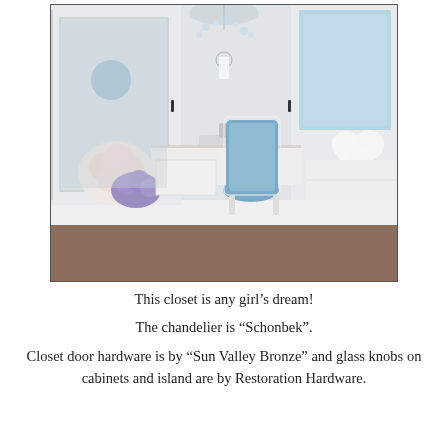[Figure (photo): Interior photo of a luxury white closet/dressing room with a crystal chandelier, lighted mirror, white vanity with marble countertop, a blue and white upholstered chair, white cabinets with glass knobs, pink and purple floral arrangements, and dark wood flooring visible in background.]
This closet is any girl's dream!

The chandelier is “Schonbek”.

Closet door hardware is by “Sun Valley Bronze” and glass knobs on cabinets and island are by Restoration Hardware.